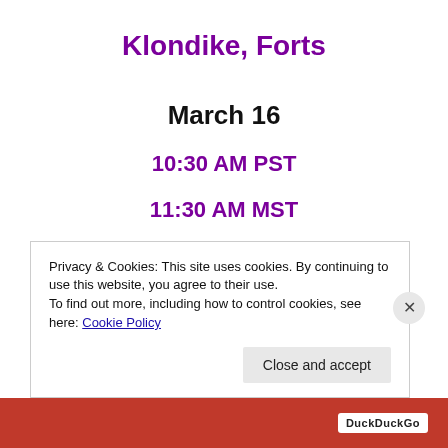Klondike, Forts
March 16
10:30 AM PST
11:30 AM MST
12:30 PM CST
1:30 PM EST
Privacy & Cookies: This site uses cookies. By continuing to use this website, you agree to their use.
To find out more, including how to control cookies, see here: Cookie Policy